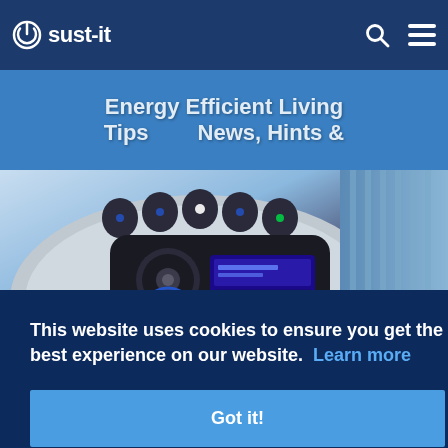sust-it
Energy Efficient Living Tips    News, Hints &
[Figure (photo): Close-up photo of a smart energy monitor/controller device with a black control panel, blue LCD display, dial, and multiple buttons, on a silver/grey base. Right side shows vertical fins/radiator.]
This website uses cookies to ensure you get the best experience on our website. Learn more
Got it!
860W